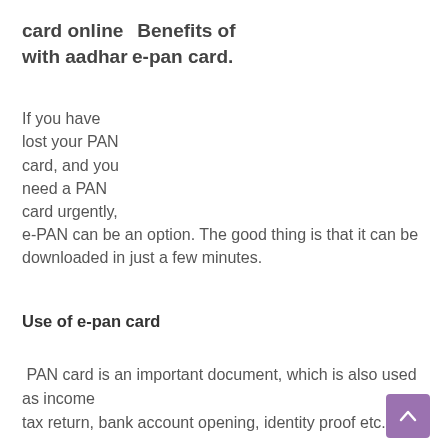card online with aadhar
Benefits of e-pan card.
If you have lost your PAN card, and you need a PAN card urgently, e-PAN can be an option. The good thing is that it can be downloaded in just a few minutes.
Use of e-pan card
PAN card is an important document, which is also used as income tax return, bank account opening, identity proof etc.